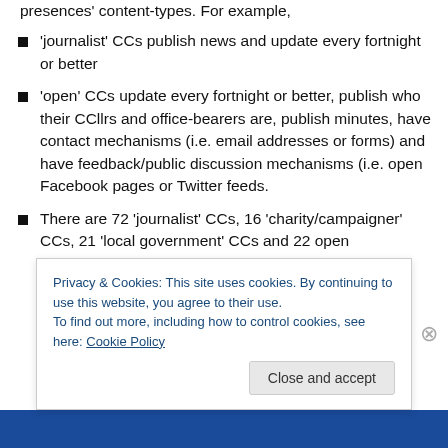presences' content-types. For example,
'journalist' CCs publish news and update every fortnight or better
'open' CCs update every fortnight or better, publish who their CCllrs and office-bearers are, publish minutes, have contact mechanisms (i.e. email addresses or forms) and have feedback/public discussion mechanisms (i.e. open Facebook pages or Twitter feeds.
There are 72 'journalist' CCs, 16 'charity/campaigner' CCs, 21 'local government' CCs and 22 open
Privacy & Cookies: This site uses cookies. By continuing to use this website, you agree to their use.
To find out more, including how to control cookies, see here: Cookie Policy